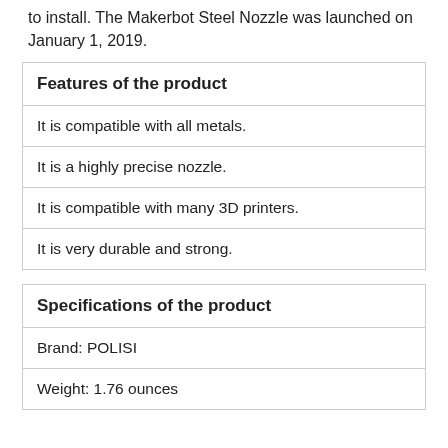to install. The Makerbot Steel Nozzle was launched on January 1, 2019.
| Features of the product |
| --- |
| It is compatible with all metals. |
| It is a highly precise nozzle. |
| It is compatible with many 3D printers. |
| It is very durable and strong. |
| Specifications of the product |
| --- |
| Brand: POLISI |
| Weight: 1.76 ounces |